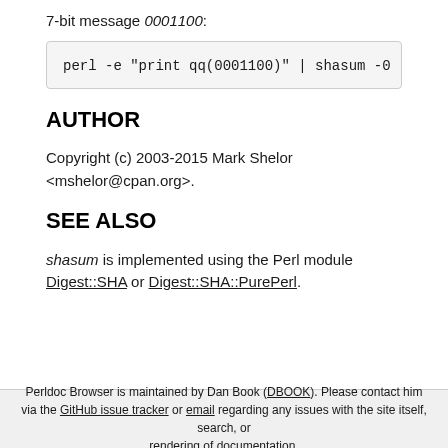7-bit message 0001100:
perl -e "print qq(0001100)" | shasum -0 -a 2…
AUTHOR
Copyright (c) 2003-2015 Mark Shelor <mshelor@cpan.org>.
SEE ALSO
shasum is implemented using the Perl module Digest::SHA or Digest::SHA::PurePerl.
Perldoc Browser is maintained by Dan Book (DBOOK). Please contact him via the GitHub issue tracker or email regarding any issues with the site itself, search, or rendering of documentation.